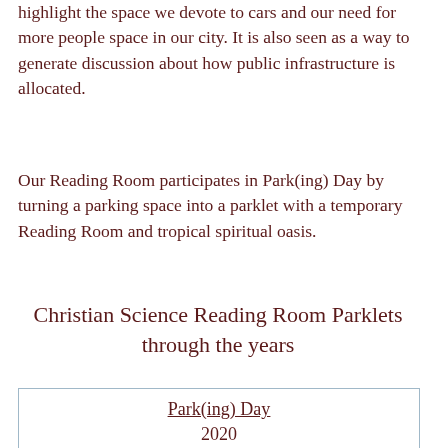highlight the space we devote to cars and our need for more people space in our city. It is also seen as a way to generate discussion about how public infrastructure is allocated.
Our Reading Room participates in Park(ing) Day by turning a parking space into a parklet with a temporary Reading Room and tropical spiritual oasis.
Christian Science Reading Room Parklets through the years
Park(ing) Day 2020